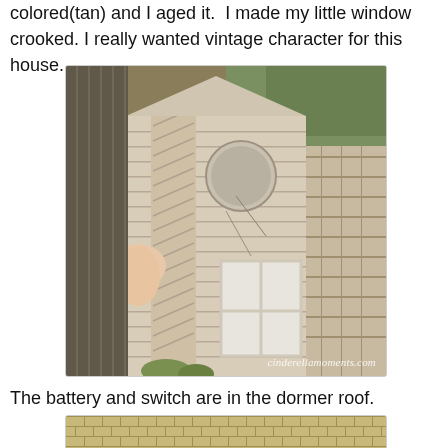colored(tan) and I aged it.  I made my little window crooked. I really wanted vintage character for this house.
[Figure (photo): Close-up photo of a miniature dollhouse dormer window with aged tan/white wood siding and a small window, being held open by a finger, watermark reads cinderellamoments.com]
The battery and switch are in the dormer roof.
[Figure (photo): Partial photo showing wooden shingle roof tiles of a miniature house, tan and light wood tones.]